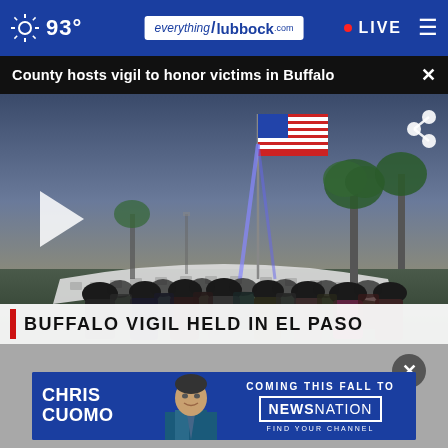93° | everything/lubbock.com | LIVE
County hosts vigil to honor victims in Buffalo
[Figure (screenshot): News video screenshot showing a crowd gathered outdoors at dusk with an American flag on a flagpole, a memorial wall in background with palm trees, colored lights, people standing for a vigil. Lower-third chyron reads: BUFFALO VIGIL HELD IN EL PASO]
[Figure (photo): Chris Cuomo advertisement banner: CHRIS CUOMO coming this fall to NewsNation. Find your channel.]